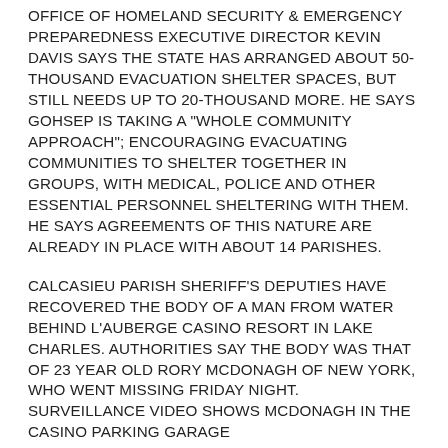OFFICE OF HOMELAND SECURITY & EMERGENCY PREPAREDNESS EXECUTIVE DIRECTOR KEVIN DAVIS SAYS THE STATE HAS ARRANGED ABOUT 50-THOUSAND EVACUATION SHELTER SPACES, BUT STILL NEEDS UP TO 20-THOUSAND MORE. HE SAYS GOHSEP IS TAKING A "WHOLE COMMUNITY APPROACH"; ENCOURAGING EVACUATING COMMUNITIES TO SHELTER TOGETHER IN GROUPS, WITH MEDICAL, POLICE AND OTHER ESSENTIAL PERSONNEL SHELTERING WITH THEM. HE SAYS AGREEMENTS OF THIS NATURE ARE ALREADY IN PLACE WITH ABOUT 14 PARISHES.
CALCASIEU PARISH SHERIFF'S DEPUTIES HAVE RECOVERED THE BODY OF A MAN FROM WATER BEHIND L'AUBERGE CASINO RESORT IN LAKE CHARLES. AUTHORITIES SAY THE BODY WAS THAT OF 23 YEAR OLD RORY MCDONAGH OF NEW YORK, WHO WENT MISSING FRIDAY NIGHT. SURVEILLANCE VIDEO SHOWS MCDONAGH IN THE CASINO PARKING GARAGE